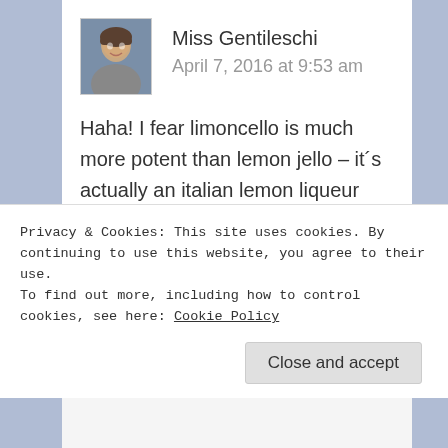[Figure (photo): Small avatar photo of Miss Gentileschi, a woman with hair pulled back, smiling, against a blurred blue background]
Miss Gentileschi
April 7, 2016 at 9:53 am
Haha! I fear limoncello is much more potent than lemon jello – it´s actually an italian lemon liqueur which is served after dinner as a digestive;) Quite tasty, especially on a hot summer´s day!
Privacy & Cookies: This site uses cookies. By continuing to use this website, you agree to their use.
To find out more, including how to control cookies, see here: Cookie Policy
Close and accept